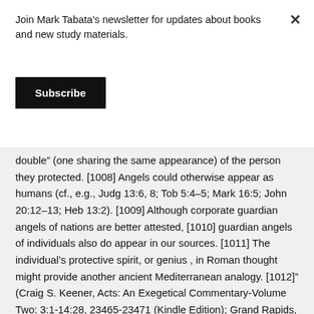Join Mark Tabata's newsletter for updates about books and new study materials.
Subscribe
double” (one sharing the same appearance) of the person they protected. [1008] Angels could otherwise appear as humans (cf., e.g., Judg 13:6, 8; Tob 5:4–5; Mark 16:5; John 20:12–13; Heb 13:2). [1009] Although corporate guardian angels of nations are better attested, [1010] guardian angels of individuals also do appear in our sources. [1011] The individual’s protective spirit, or genius , in Roman thought might provide another ancient Mediterranean analogy. [1012]” (Craig S. Keener, Acts: An Exegetical Commentary-Volume Two: 3:1-14:28, 23465-23471 (Kindle Edition); Grand Rapids,